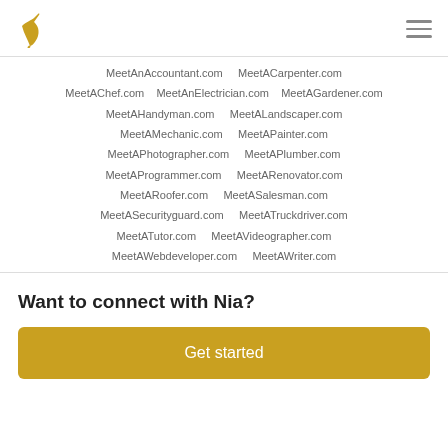Logo and navigation header
MeetAnAccountant.com  MeetACarpenter.com
MeetAChef.com  MeetAnElectrician.com  MeetAGardener.com
MeetAHandyman.com  MeetALandscaper.com
MeetAMechanic.com  MeetAPainter.com
MeetAPhotographer.com  MeetAPlumber.com
MeetAProgrammer.com  MeetARenovator.com
MeetARoofer.com  MeetASalesman.com
MeetASecurityguard.com  MeetATruckdriver.com
MeetATutor.com  MeetAVideographer.com
MeetAWebdeveloper.com  MeetAWriter.com
Want to connect with Nia?
Get started